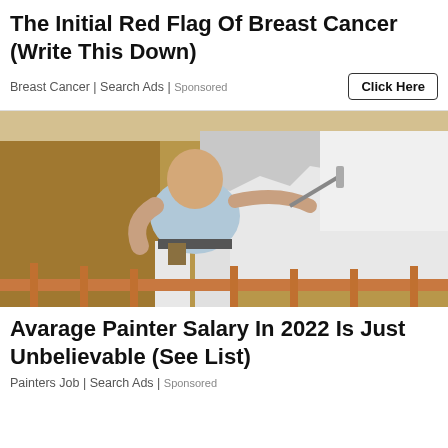The Initial Red Flag Of Breast Cancer (Write This Down)
Breast Cancer | Search Ads | Sponsored
[Figure (photo): A bald man in a light blue t-shirt and white painter's pants, viewed from behind, painting a wall white with a paint roller. The room has tan/gold colored walls and a wooden railing is visible in the foreground.]
Avarage Painter Salary In 2022 Is Just Unbelievable (See List)
Painters Job | Search Ads | Sponsored